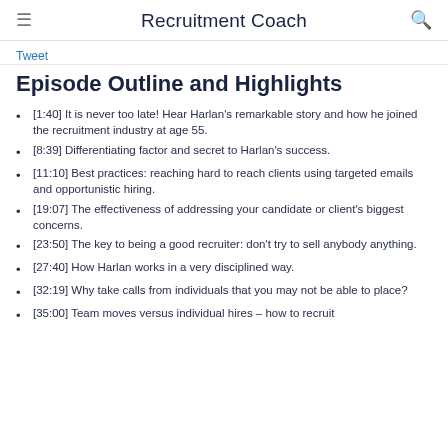Recruitment Coach
Tweet
Episode Outline and Highlights
[1:40] It is never too late! Hear Harlan's remarkable story and how he joined the recruitment industry at age 55.
[8:39] Differentiating factor and secret to Harlan's success.
[11:10] Best practices: reaching hard to reach clients using targeted emails and opportunistic hiring.
[19:07] The effectiveness of addressing your candidate or client's biggest concerns.
[23:50] The key to being a good recruiter: don't try to sell anybody anything.
[27:40] How Harlan works in a very disciplined way.
[32:19] Why take calls from individuals that you may not be able to place?
[35:00] Team moves versus individual hires – how to recruit...